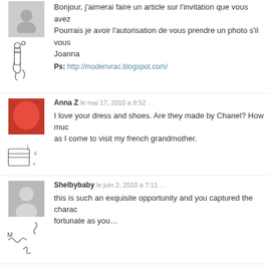Bonjour, j'aimerai faire un article sur l'invitation que vous avez Pourrais je avoir l'autorisation de vous prendre un photo s'il vous Joanna
Ps: http://modenvrac.blogspot.com/
Anna Z le mai 17, 2010 a 9:52 . .
I love your dress and shoes. Are they made by Chanel? How much as I come to visit my french grandmother.
Shelbybaby le juin 2, 2010 a 7:11 . .
this is such an exquisite opportunity and you captured the charac fortunate as you…
Andrada le septembre 5, 2010 a 1:31 . .
omg! this is my dream! wonderful photos.I adore the whole pos stairs and the ones of the haute couture collection and the perfume please check out my blog:
http://navyhoneyblossom.blogspot.com/